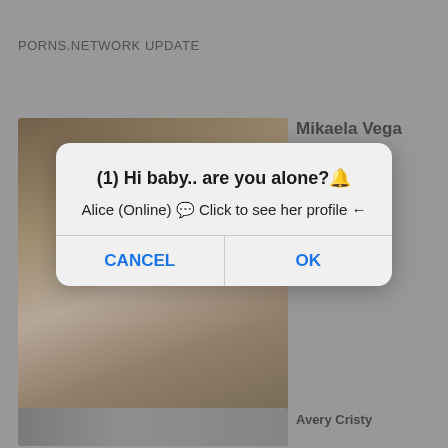PORNS.NETWORK UPDATE
[Figure (photo): Mirror selfie photo thumbnail on left side of page]
Mikaela Vega Leaks (40 Photos)
[Figure (screenshot): Browser dialog box with message: (1) Hi baby.. are you alone?🔔 Alice (Online) 💬 Click to see her profile ← with CANCEL and OK buttons]
Avery Cristy